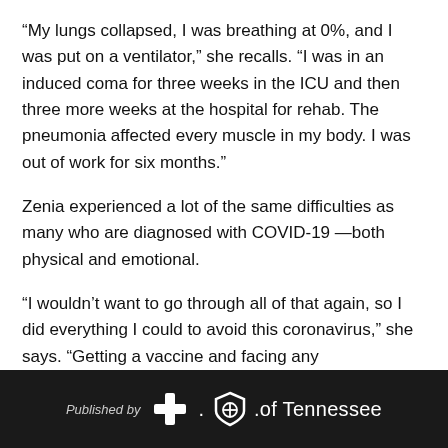“My lungs collapsed, I was breathing at 0%, and I was put on a ventilator,” she recalls. “I was in an induced coma for three weeks in the ICU and then three more weeks at the hospital for rehab. The pneumonia affected every muscle in my body. I was out of work for six months.”
Zenia experienced a lot of the same difficulties as many who are diagnosed with COVID-19 —both physical and emotional.
“I wouldn’t want to go through all of that again, so I did everything I could to avoid this coronavirus,” she says. “Getting a vaccine and facing any uncomfortable side
Published by BlueCross BlueShield of Tennessee